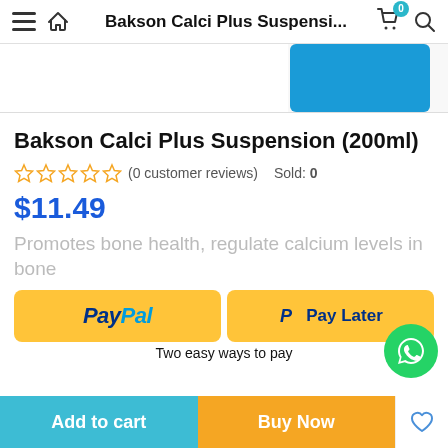Bakson Calci Plus Suspensi...
[Figure (photo): Partial product image showing dark circular object and blue packaging element]
Bakson Calci Plus Suspension (200ml)
(0 customer reviews)  Sold: 0
$11.49
Promotes bone health, regulate calcium levels in bone
[Figure (other): PayPal and Pay Later payment buttons with 'Two easy ways to pay' label]
Two easy ways to pay
Add to cart  Buy Now